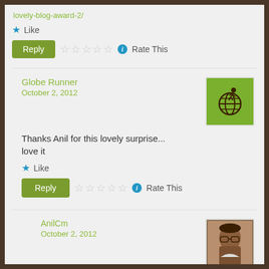lovely-blog-award-2/
Like
Reply — Rate This
Globe Runner
October 2, 2012
[Figure (illustration): Green square avatar with globe and runner icon]
Thanks Anil for this lovely surprise... love it
Like
Reply — Rate This
AnilCm
October 2, 2012
[Figure (photo): Profile photo of a man with glasses]
welcome!